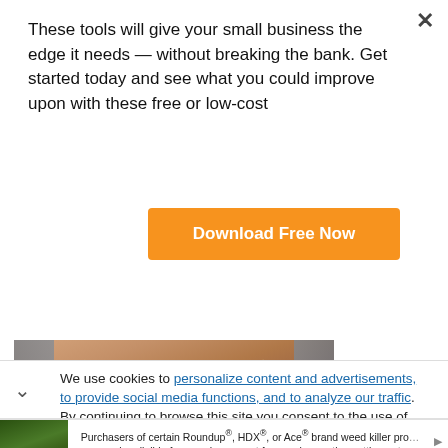These tools will give your small business the edge it needs — without breaking the bank. Get started today and see what you could improve upon with these free or low-cost
[Figure (other): Orange 'Download Free Now' button]
[Figure (photo): Close-up photo of a person's chest/neck area wearing a delicate necklace with a small pendant, wearing a grey top]
[Figure (photo): Photo of a person's hair/head from above, hair spread out on light background]
We use cookies to personalize content and advertisements, to provide social media functions, and to analyze our traffic. By continuing to browse this site you consent to the use of cookies.
[Figure (photo): Advertisement banner showing yellow flowers/dandelions on dark background with text about Roundup, HDX, or Ace brand weed killer class action settlement]
Purchasers of certain Roundup®, HDX®, or Ace® brand weed killer products may be eligible for a cash payment from a class action settlement. Visit www.WeedKillerAdSettlement.com to learn more.